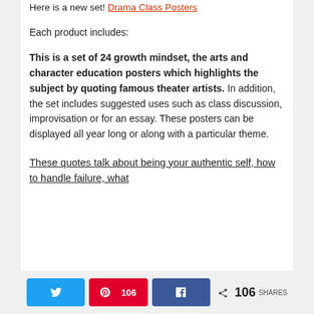Here is a new set! Drama Class Posters
Each product includes:
This is a set of 24 growth mindset, the arts and character education posters which highlights the subject by quoting famous theater artists. In addition, the set includes suggested uses such as class discussion, improvisation or for an essay. These posters can be displayed all year long or along with a particular theme.
These quotes talk about being your authentic self, how to handle failure, what
106 SHARES — Twitter, Pinterest 106, Facebook, Share